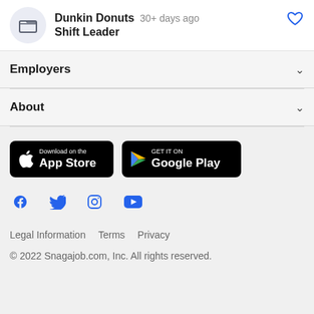Dunkin Donuts  30+ days ago  Shift Leader
Employers
About
[Figure (other): App store download buttons: Download on the App Store and GET IT ON Google Play]
[Figure (other): Social media icons: Facebook, Twitter, Instagram, YouTube]
Legal Information  Terms  Privacy
© 2022 Snagajob.com, Inc. All rights reserved.